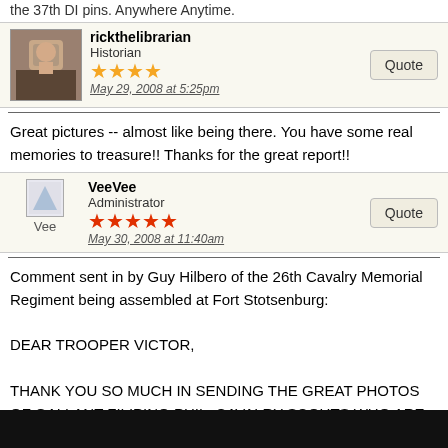the 37th DI pins. Anywhere Anytime.
rickthelibrarian
Historian
★★★★
May 29, 2008 at 5:25pm
Great pictures -- almost like being there. You have some real memories to treasure!! Thanks for the great report!!
VeeVee
Administrator
★★★★★
May 30, 2008 at 11:40am
Comment sent in by Guy Hilbero of the 26th Cavalry Memorial Regiment being assembled at Fort Stotsenburg:

DEAR TROOPER VICTOR,

THANK YOU SO MUCH IN SENDING THE GREAT PHOTOS OF GALLANT FILIPINO PHIL. CAVALRY SCOUTS WHO ARE STILL LIVING AND YOU LOOKING SHARP WITH YOUR FULL UNIFORM AND PERFORMING ONE OF THE HONOR GUARDS.